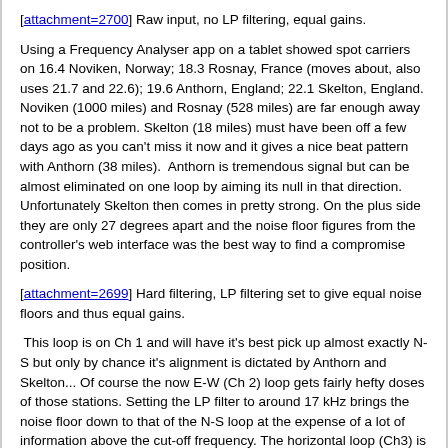[attachment=2700] Raw input, no LP filtering, equal gains.
Using a Frequency Analyser app on a tablet showed spot carriers on 16.4 Noviken, Norway; 18.3 Rosnay, France (moves about, also uses 21.7 and 22.6); 19.6 Anthorn, England; 22.1 Skelton, England. Noviken (1000 miles) and Rosnay (528 miles) are far enough away not to be a problem. Skelton (18 miles) must have been off a few days ago as you can't miss it now and it gives a nice beat pattern with Anthorn (38 miles).  Anthorn is tremendous signal but can be almost eliminated on one loop by aiming its null in that direction. Unfortunately Skelton then comes in pretty strong. On the plus side they are only 27 degrees apart and the noise floor figures from the controller's web interface was the best way to find a compromise position.
[attachment=2699] Hard filtering, LP filtering set to give equal noise floors and thus equal gains.
This loop is on Ch 1 and will have it's best pick up almost exactly N-S but only by chance it's alignment is dictated by Anthorn and Skelton... Of course the now E-W (Ch 2) loop gets fairly hefty doses of those stations. Setting the LP filter to around 17 kHz brings the noise floor down to that of the N-S loop at the expense of a lot of information above the cut-off frequency. The horizontal loop (Ch3) is less affected by Anthorn/Skelton but also doesn't pick up as many strikes as the two vertical loops.
[attachment=2698] Soft filtering, LP filters set to remove as little as possible and hence equal but higher noise floors. The 54 kHz LP filter is t...